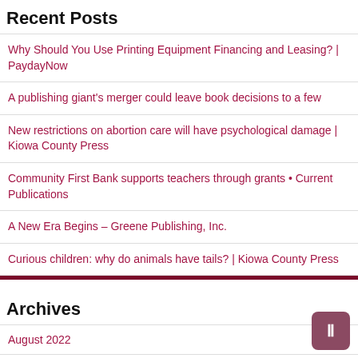Recent Posts
Why Should You Use Printing Equipment Financing and Leasing? | PaydayNow
A publishing giant's merger could leave book decisions to a few
New restrictions on abortion care will have psychological damage | Kiowa County Press
Community First Bank supports teachers through grants • Current Publications
A New Era Begins – Greene Publishing, Inc.
Curious children: why do animals have tails? | Kiowa County Press
Archives
August 2022
July 2022
June 2022